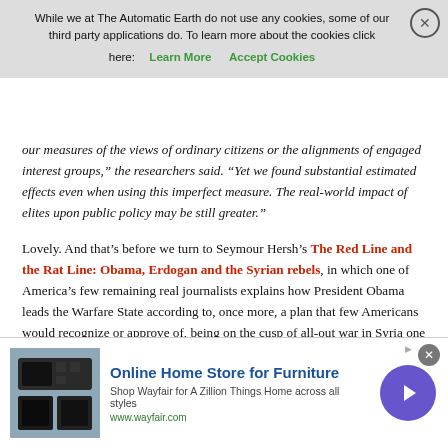While we at The Automatic Earth do not use any cookies, some of our third party applications do. To learn more about the cookies click here: Learn More  Accept Cookies
our measures of the views of ordinary citizens or the alignments of engaged interest groups," the researchers said. "Yet we found substantial estimated effects even when using this imperfect measure. The real-world impact of elites upon public policy may be still greater."
Lovely. And that’s before we turn to Seymour Hersh’s The Red Line and the Rat Line: Obama, Erdogan and the Syrian rebels, in which one of America’s few remaining real journalists explains how President Obama leads the Warfare State according to, once more, a plan that few Americans would recognize or approve of, being on the cusp of all-out war in Syria one day and calling it off the next, and in which US ally Turkey supplied the sarin gas that US-supported rebels, not President Assad, used in an attack. A great read of a very unappetizing chapter in recent US history.
[Figure (other): Advertisement for Wayfair Online Home Store for Furniture with product image and navigation arrow]